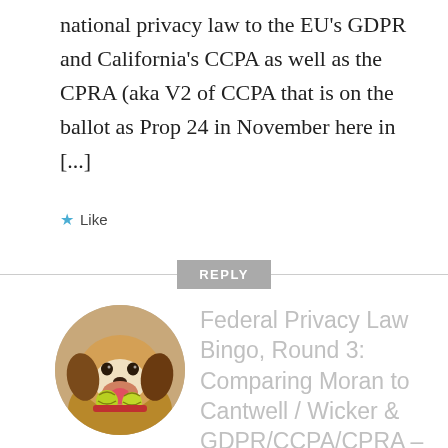national privacy law to the EU's GDPR and California's CCPA as well as the CPRA (aka V2 of CCPA that is on the ballot as Prop 24 in November here in [...]
★ Like
REPLY
[Figure (photo): Circular avatar photo of a dog (beagle-like) holding tennis balls in its mouth, brown and white coloring, indoor setting]
Federal Privacy Law Bingo, Round 3: Comparing Moran to Cantwell / Wicker & GDPR/CCPA/CPRA –